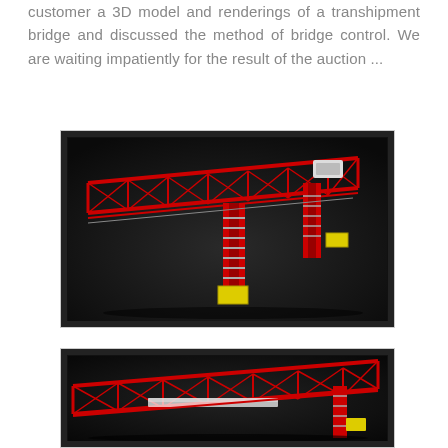customer a 3D model and renderings of a transhipment bridge and discussed the method of bridge control. We are waiting impatiently for the result of the auction ...
[Figure (illustration): 3D rendering of a red transhipment bridge crane structure on a dark background, showing a large lattice truss bridge with vertical support towers and yellow equipment boxes]
[Figure (illustration): 3D rendering of the same red transhipment bridge crane from a different angle, showing the lattice truss structure from a low perspective with a yellow equipment box visible]